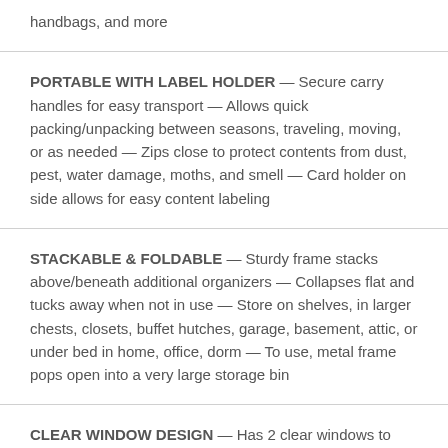handbags, and more
PORTABLE WITH LABEL HOLDER — Secure carry handles for easy transport — Allows quick packing/unpacking between seasons, traveling, moving, or as needed — Zips close to protect contents from dust, pest, water damage, moths, and smell — Card holder on side allows for easy content labeling
STACKABLE & FOLDABLE — Sturdy frame stacks above/beneath additional organizers — Collapses flat and tucks away when not in use — Store on shelves, in larger chests, closets, buffet hutches, garage, basement, attic, or under bed in home, office, dorm — To use, metal frame pops open into a very large storage bin
CLEAR WINDOW DESIGN — Has 2 clear windows to view contents at glance with 2 zippered flap doors for